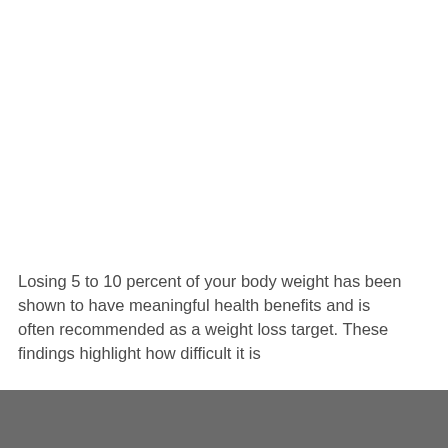Losing 5 to 10 percent of your body weight has been shown to have meaningful health benefits and is often recommended as a weight loss target. These findings highlight how difficult it is